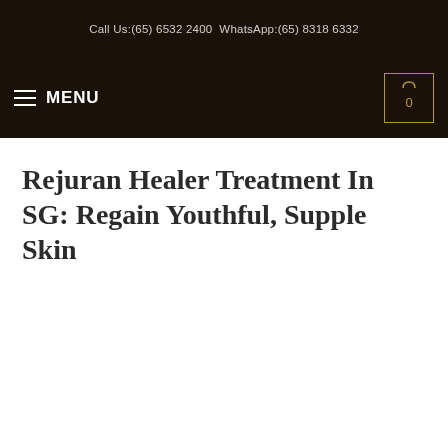Call Us:(65) 6532 2400  WhatsApp:(65) 8318 6332
Rejuran Healer Treatment In SG: Regain Youthful, Supple Skin